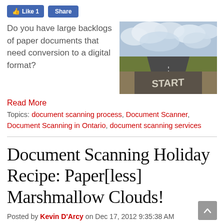[Figure (screenshot): Facebook Like and Share buttons]
Do you have large backlogs of paper documents that need conversion to a digital format?
[Figure (photo): Road with the word START painted on it, under a cloudy sky]
Read More
Topics: document scanning process, Document Scanner, Document Scanning in Ontario, document scanning services
Document Scanning Holiday Recipe: Paper[less] Marshmallow Clouds!
Posted by Kevin D'Arcy on Dec 17, 2012 9:35:38 AM